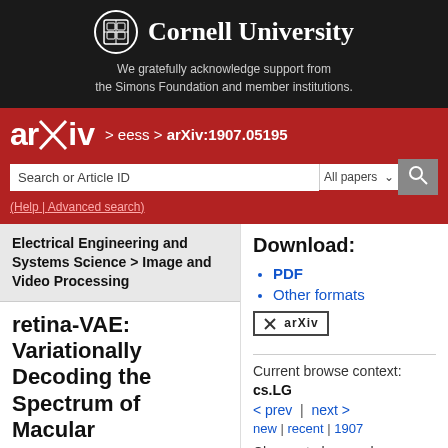[Figure (logo): Cornell University logo with shield emblem and text 'Cornell University' on dark background]
We gratefully acknowledge support from the Simons Foundation and member institutions.
[Figure (logo): arXiv logo in white on red background with breadcrumb navigation > eess > arXiv:1907.05195]
(Help | Advanced search)
Electrical Engineering and Systems Science > Image and Video Processing
retina-VAE: Variationally Decoding the Spectrum of Macular
Download:
PDF
Other formats
Current browse context:
cs.LG
< prev | next >
new | recent | 1907
Change to browse by:
cs